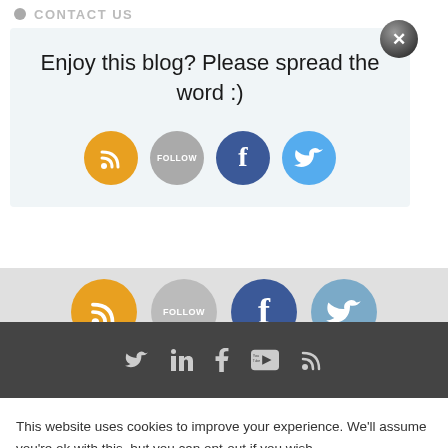CONTACT US
Enjoy this blog? Please spread the word :)
[Figure (illustration): Social sharing modal with RSS, Follow, Facebook, and Twitter circular icon buttons, plus a close (X) button in top-right corner. Below the modal, a partially visible background row shows larger versions of the same icons. A dark grey footer strip shows social media icons (Twitter, LinkedIn, Facebook, YouTube, RSS).]
This website uses cookies to improve your experience. We'll assume you're ok with this, but you can opt-out if you wish.
Accept   Read More